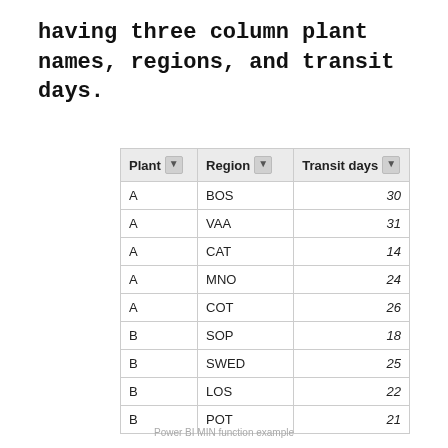having three column plant names, regions, and transit days.
| Plant | Region | Transit days |
| --- | --- | --- |
| A | BOS | 30 |
| A | VAA | 31 |
| A | CAT | 14 |
| A | MNO | 24 |
| A | COT | 26 |
| B | SOP | 18 |
| B | SWED | 25 |
| B | LOS | 22 |
| B | POT | 21 |
Power BI MIN function example